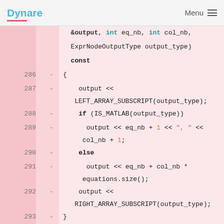Dynare  Menu
[Figure (screenshot): Code diff view showing C++ source lines 286-296 of Dynare model tree code, with deleted lines (red minus markers) showing hessian-related output functions including LEFT_ARRAY_SUBSCRIPT, IS_MATLAB checks, RIGHT_ARRAY_SUBSCRIPT, and beginning of hessianHelper function.]